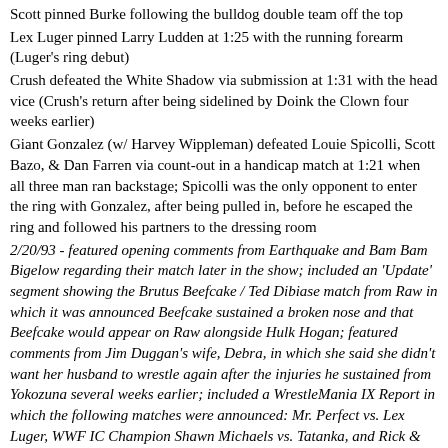Scott pinned Burke following the bulldog double team off the top
Lex Luger pinned Larry Ludden at 1:25 with the running forearm (Luger's ring debut)
Crush defeated the White Shadow via submission at 1:31 with the head vice (Crush's return after being sidelined by Doink the Clown four weeks earlier)
Giant Gonzalez (w/ Harvey Wippleman) defeated Louie Spicolli, Scott Bazo, & Dan Farren via count-out in a handicap match at 1:21 when all three man ran backstage; Spicolli was the only opponent to enter the ring with Gonzalez, after being pulled in, before he escaped the ring and followed his partners to the dressing room
2/20/93 - featured opening comments from Earthquake and Bam Bam Bigelow regarding their match later in the show; included an 'Update' segment showing the Brutus Beefcake / Ted Dibiase match from Raw in which it was announced Beefcake sustained a broken nose and that Beefcake would appear on Raw alongside Hulk Hogan; featured comments from Jim Duggan's wife, Debra, in which she said she didn't want her husband to wrestle again after the injuries he sustained from Yokozuna several weeks earlier; included a WrestleMania IX Report in which the following matches were announced: Mr. Perfect vs. Lex Luger, WWF IC Champion Shawn Michaels vs. Tatanka, and Rick & Scott Steiner vs. the Headshrinkers; featured closing comments from Doink the Clown and the Big Bossman regarding their match the following week: